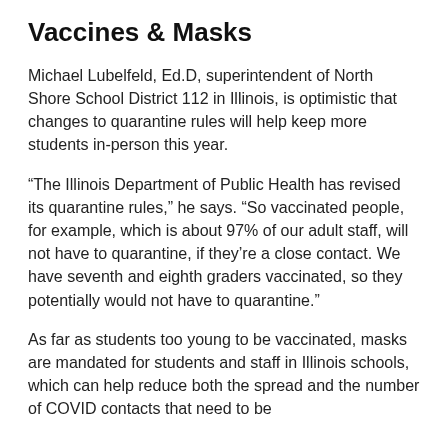Vaccines & Masks
Michael Lubelfeld, Ed.D, superintendent of North Shore School District 112 in Illinois, is optimistic that changes to quarantine rules will help keep more students in-person this year.
“The Illinois Department of Public Health has revised its quarantine rules,” he says. “So vaccinated people, for example, which is about 97% of our adult staff, will not have to quarantine, if they’re a close contact. We have seventh and eighth graders vaccinated, so they potentially would not have to quarantine.”
As far as students too young to be vaccinated, masks are mandated for students and staff in Illinois schools, which can help reduce both the spread and the number of COVID contacts that need to be